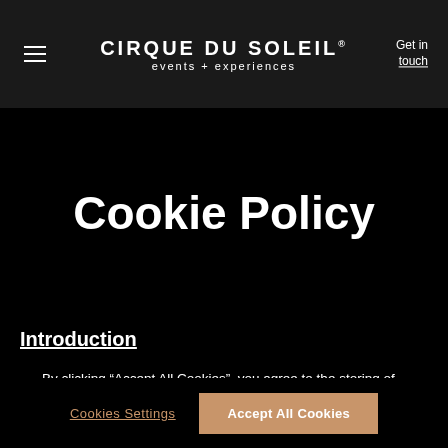CIRQUE DU SOLEIL events + experiences | Get in touch
Cookie Policy
Introduction
By clicking “Accept All Cookies”, you agree to the storing of cookies on your device to enhance site navigation, analyze site usage, and assist in our marketing efforts.
Cookies Settings | Accept All Cookies